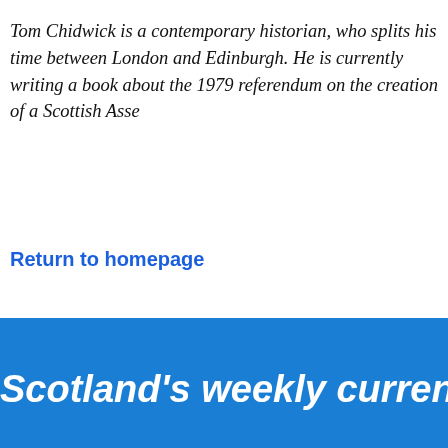Tom Chidwick is a contemporary historian, who splits his time between London and Edinburgh. He is currently writing a book about the 1979 referendum on the creation of a Scottish Assembly.
Return to homepage
Scotland's weekly current affairs
EDITORIAL
CONTACT US
Editor
Islay McLeod
Founder
Prestwick International
Liberator House, R...
Prestwick KA9 2PT
01292 478510